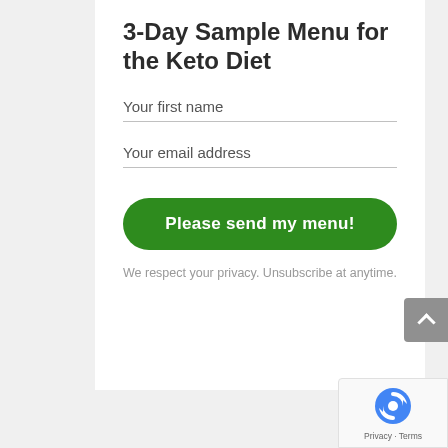3-Day Sample Menu for the Keto Diet
Your first name
Your email address
Please send my menu!
We respect your privacy. Unsubscribe at anytime.